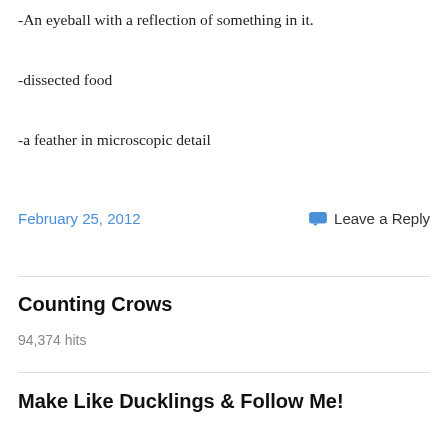-An eyeball with a reflection of something in it.
-dissected food
-a feather in microscopic detail
February 25, 2012
Leave a Reply
Counting Crows
94,374 hits
Make Like Ducklings & Follow Me!